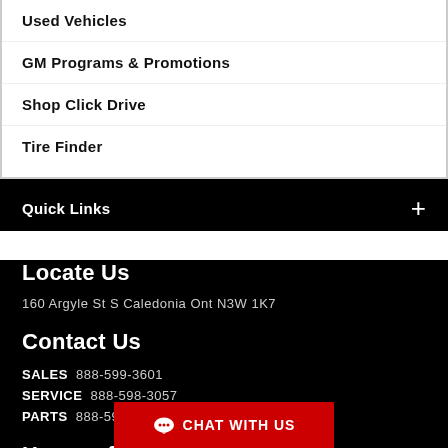Used Vehicles
GM Programs & Promotions
Shop Click Drive
Tire Finder
Quick Links
Locate Us
160 Argyle St S Caledonia Ont N3W 1K7
Contact Us
SALES 888-599-3601
SERVICE 888-598-3057
PARTS 888-599-3780
Hours of Operati
CHAT WITH US